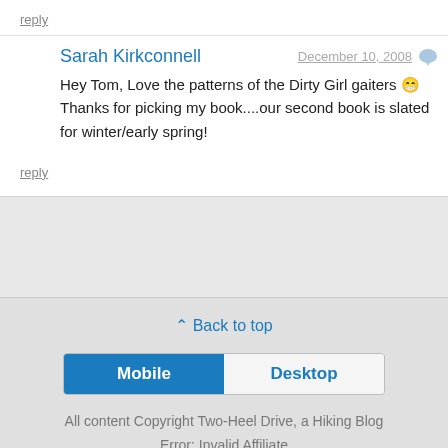reply
Sarah Kirkconnell
December 10, 2008
Hey Tom, Love the patterns of the Dirty Girl gaiters 😄 Thanks for picking my book....our second book is slated for winter/early spring!
reply
⌃ Back to top
Mobile
Desktop
All content Copyright Two-Heel Drive, a Hiking Blog
Error: Invalid Affiliate